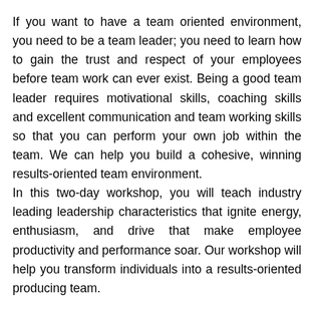If you want to have a team oriented environment, you need to be a team leader; you need to learn how to gain the trust and respect of your employees before team work can ever exist. Being a good team leader requires motivational skills, coaching skills and excellent communication and team working skills so that you can perform your own job within the team. We can help you build a cohesive, winning results-oriented team environment.
In this two-day workshop, you will teach industry leading leadership characteristics that ignite energy, enthusiasm, and drive that make employee productivity and performance soar. Our workshop will help you transform individuals into a results-oriented producing team.